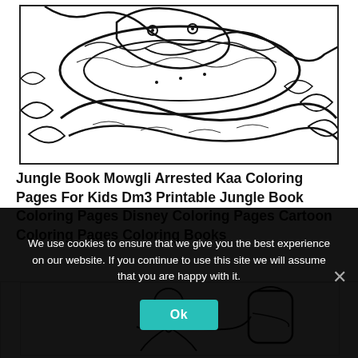[Figure (illustration): Coloring page illustration of Jungle Book characters Mowgli and Kaa the snake, drawn in black and white outline style, partially cropped at top]
Jungle Book Mowgli Arrested Kaa Coloring Pages For Kids Dm3 Printable Jungle Book Coloring Pages Disney Coloring Pages Cartoon Coloring Pages Coloring Books
[Figure (illustration): Second coloring page illustration partially visible, showing a character with a bag, black and white outline style]
We use cookies to ensure that we give you the best experience on our website. If you continue to use this site we will assume that you are happy with it.